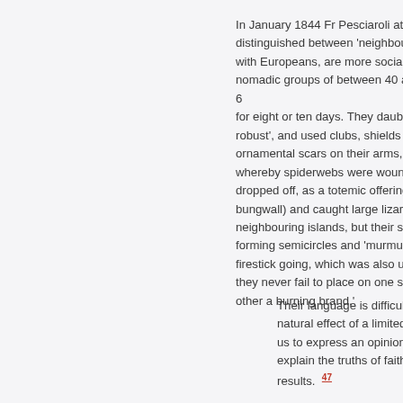In January 1844 Fr Pesciaroli attempted to distinguished between 'neighbours of Europeans, are more social and nomadic groups of between 40 and 60 for eight or ten days. They daubed their robust', and used clubs, shields and ornamental scars on their arms, legs whereby spiderwebs were wound around dropped off, as a totemic offering. They bungwall) and caught large lizards (p neighbouring islands, but their staple forming semicircles and 'murmuring firestick going, which was also used they never fail to place on one side of other a burning brand.'
Their language is difficult and natural effect of a limited vocabulary us to express an opinion in explain the truths of faith to results. 47